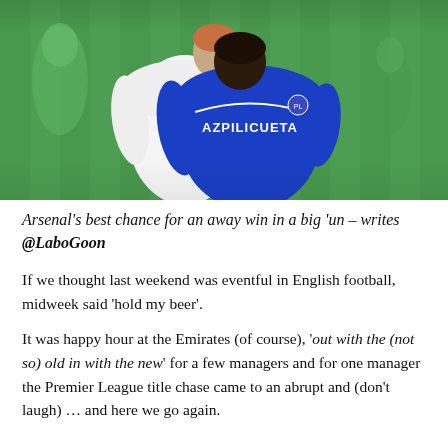[Figure (photo): Two football players from behind, one in a white Tottenham jersey and another in a blue Chelsea jersey with AZPILICUETA printed on the back, against a green pitch background.]
Arsenal's best chance for an away win in a big 'un – writes @LaboGoon
If we thought last weekend was eventful in English football, midweek said 'hold my beer'.
It was happy hour at the Emirates (of course), 'out with the (not so) old in with the new' for a few managers and for one manager the Premier League title chase came to an abrupt and (don't laugh) … and here we go again.